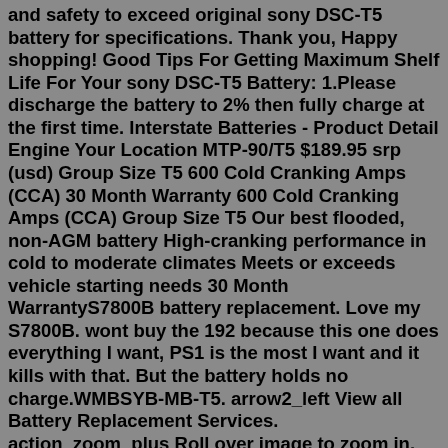and safety to exceed original sony DSC-T5 battery for specifications. Thank you, Happy shopping! Good Tips For Getting Maximum Shelf Life For Your sony DSC-T5 Battery: 1.Please discharge the battery to 2% then fully charge at the first time. Interstate Batteries - Product Detail Engine Your Location MTP-90/T5 $189.95 srp (usd) Group Size T5 600 Cold Cranking Amps (CCA) 30 Month Warranty 600 Cold Cranking Amps (CCA) Group Size T5 Our best flooded, non-AGM battery High-cranking performance in cold to moderate climates Meets or exceeds vehicle starting needs 30 Month WarrantyS7800B battery replacement. Love my S7800B. wont buy the 192 because this one does everything I want, PS1 is the most I want and it kills with that. But the battery holds no charge.WMBSYB-MB-T5. arrow2_left View all Battery Replacement Services. action_zoom_plus Roll over image to zoom in. Modular Battery and Recycling Service 3 X SYBT5 ... Batteries and recycling service for quick and easy self service battery replacement: Physical;